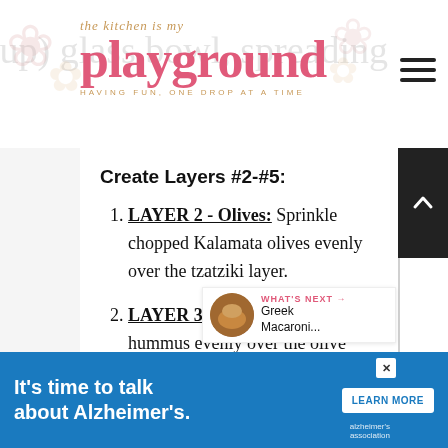the kitchen is my playground
Create Layers #2-#5:
LAYER 2 - Olives: Sprinkle chopped Kalamata olives evenly over the tzatziki layer.
LAYER 3 - Hummus: Spread hummus evenly over the olive layer.
LAYER 4 - Artichoke Hearts:
[Figure (other): What's Next promo box with food image thumbnail and text 'Greek Macaroni...']
It's time to talk about Alzheimer's. LEARN MORE